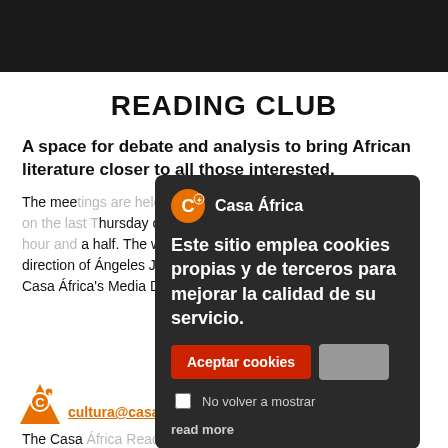READING CLUB
A space for debate and analysis to bring African literature closer to all those interested.
The meetings are held at Casa África's headquarters, normally on the last Thursday of each month at 7pm, lasting around an hour and a half. The works are commented and read under direction of Ángeles Jurado, journalist, writer and technician of Casa África's Media Department.
[Figure (screenshot): Cookie consent popup for Casa África website. Contains: Casa África logo and name in header, Spanish text 'Este sitio emplea cookies propias y de terceros para mejorar la calidad de su servicio.', red 'Aceptar cookies' button, gray button, 'No volver a mostrar' checkbox, and 'read more' link.]
The Casa África Reading Club currently has vacancies. Those interested in joining should send an email to cultura@casafrica.es